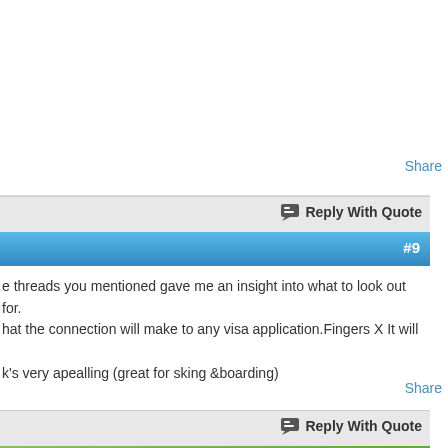Share
Reply With Quote
#9
e threads you mentioned gave me an insight into what to look out for.
at the connection will make to any visa application.Fingers X It will

k's very apealling (great for sking &boarding)
Share
Reply With Quote